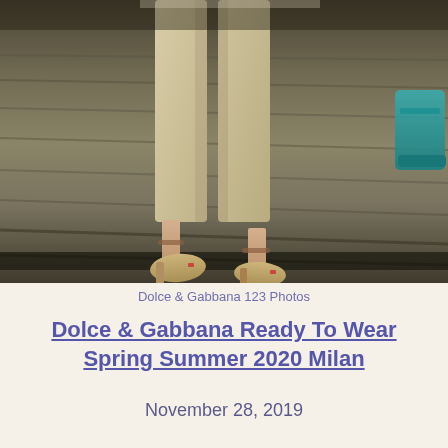[Figure (photo): Fashion runway photo showing lower legs and feet of a model wearing beige/khaki cropped trousers and strappy heeled sandals, walking on a textured catwalk surface. Another model's teal shoes visible at right edge.]
Dolce & Gabbana 123 Photos
Dolce & Gabbana Ready To Wear Spring Summer 2020 Milan
November 28, 2019